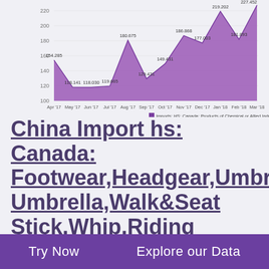[Figure (area-chart): Imports: HS: Canada: Products of Chemical or Allied Industries]
China Import hs: Canada: Footwear,Headgear,Umbrella,Sun Umbrella,Walk&Seat Stick,Whip,Riding Crop&Part;Prepared Feather&Article Made therewith;Artificial
Try Now   Explore our Data